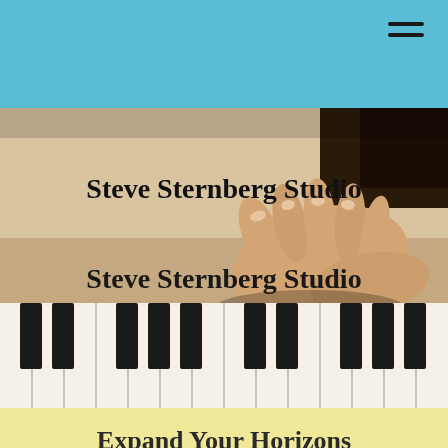☰
Steve Sternberg Studio
[Figure (photo): Close-up photograph of hands playing piano keys, showing black and white keys with a hand resting on them]
Expand Your Horizons
Do you have some free time this year and want to finally learn how to play the piano, harmonica, or maybe the saxophone? Sternberg Music Lessons offers private tuition for students of all ages from 5 to 95. Making your own music rather than just turning on a recording is a great stress-reliever. Augment your studies while in college. Challenge